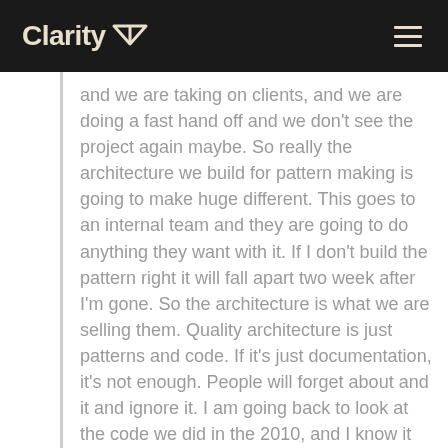Clarity
and we are taking on clients, and we are doing a fast hand off and we don't see the project again maybe. So really the architecture we build for pattern making is going to make huge different. This goes to an internal team and they are going to do anything they want with it. If I don't build the pattern right it will fall apart two week after I'm gone. So the architecture is what we are selling them. Quality architecture is just patterns and code. If it's just documentation, it's not enough. People will forget about and it and ignore it. I am going back to look at the code we did in the 2010, and I know it isn't there. I did that to myself. Patterns that we see in a style guide, somebody mentioned earlier that style guides